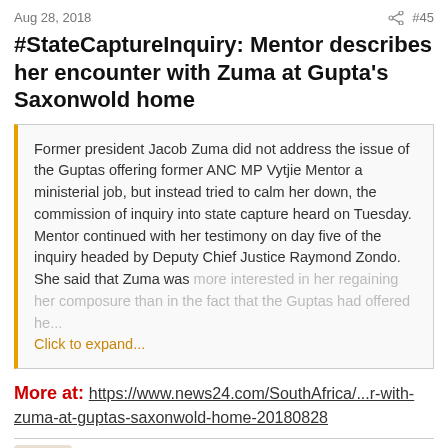Aug 28, 2018   #45
#StateCaptureInquiry: Mentor describes her encounter with Zuma at Gupta's Saxonwold home
Former president Jacob Zuma did not address the issue of the Guptas offering former ANC MP Vytjie Mentor a ministerial job, but instead tried to calm her down, the commission of inquiry into state capture heard on Tuesday.
Mentor continued with her testimony on day five of the inquiry headed by Deputy Chief Justice Raymond Zondo. She said that Zuma was more interested in her regaining her composure than in the fact that the Guptas had offered he... Click to expand...
More at: https://www.news24.com/SouthAfrica/...r-with-zuma-at-guptas-saxonwold-home-20180828
schumi
Honorary Master